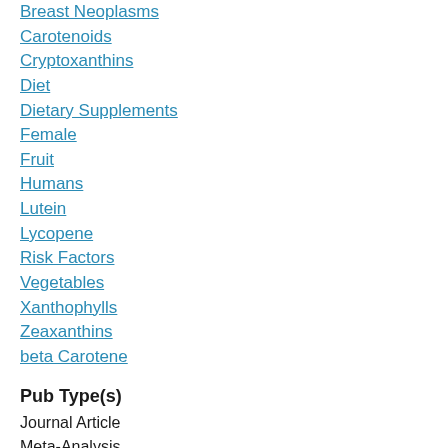Breast Neoplasms
Carotenoids
Cryptoxanthins
Diet
Dietary Supplements
Female
Fruit
Humans
Lutein
Lycopene
Risk Factors
Vegetables
Xanthophylls
Zeaxanthins
beta Carotene
Pub Type(s)
Journal Article
Meta-Analysis
Research Support, Non-U.S. Gov't
Review
Systematic Review
Language
eng
PubMed ID